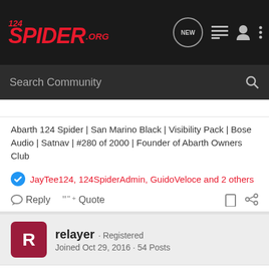124SPIDER.ORG — navigation bar with logo, NEW button, list icon, user icon, menu icon
Search Community
Abarth 124 Spider | San Marino Black | Visibility Pack | Bose Audio | Satnav | #280 of 2000 | Founder of Abarth Owners Club
JayTee124, 124SpiderAdmin, GuidoVeloce and 2 others
Reply   Quote
relayer · Registered
Joined Oct 29, 2016 · 54 Posts
#2 · Nov 24, 2016
Welcome to the forum, that's a great looking car!